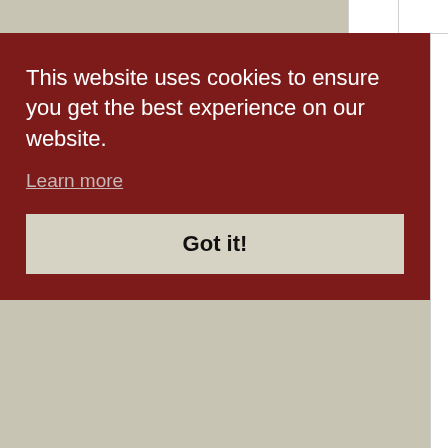This website uses cookies to ensure you get the best experience on our website.
Learn more
Got it!
[Figure (screenshot): Partial view of a web game page showing a character avatar labeled 'sittacanadensis' with star ratings, and text 'Her rainbo...' with a date 'June 20, 20...']
sittacanadensis
June 20, 20...
Her rainbo...